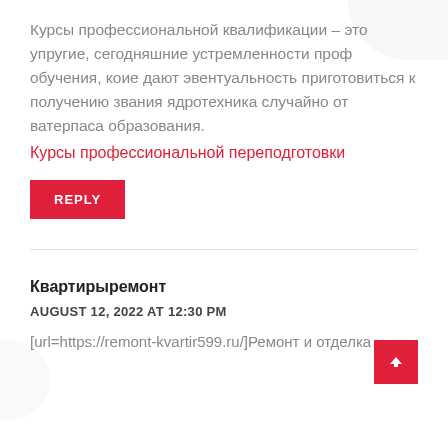Курсы профессиональной квалификации – это упругие, сегодняшние устремленности проф обучения, коие дают эвентуальность приготовиться к получению звания ядротехника случайно от ватерпаса образования.
Курсы профессиональной переподготовки
REPLY
Квартирыремонт
AUGUST 12, 2022 AT 12:30 PM
[url=https://remont-kvartir599.ru/]Ремонт и отделка